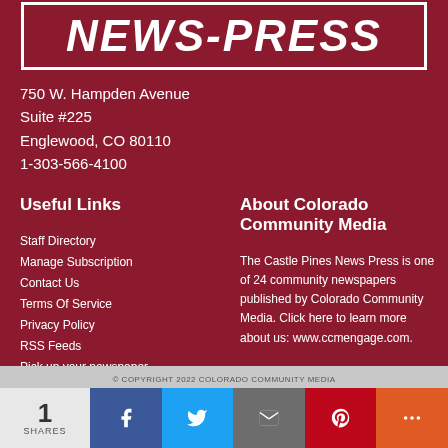[Figure (logo): NEWS-PRESS logo text in white on dark red background with white border]
750 W. Hampden Avenue
Suite #225
Englewood, CO 80110
1-303-566-4100
Useful Links
Staff Directory
Manage Subscription
Contact Us
Terms Of Service
Privacy Policy
RSS Feeds
Pick up your newspaper
About Colorado Community Media
The Castle Pines News Press is one of 24 community newspapers published by Colorado Community Media. Click here to learn more about us: www.ccmengage.com.
© COPYRIGHT 2022 COLORADO COMMUNITY MEDIA
[Figure (infographic): Social share bar with count 1 SHARES and Facebook, Twitter, Email, Pinterest, More buttons]